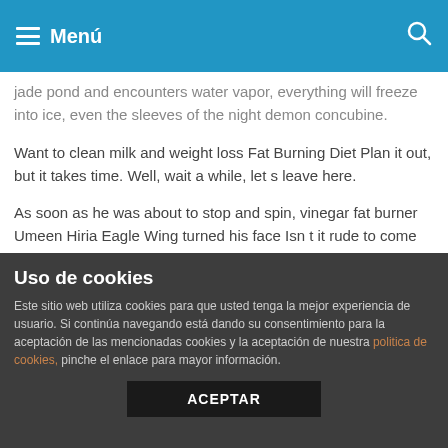Menú
jade pond and encounters water vapor, everything will freeze into ice, even the sleeves of the night demon concubine.
Want to clean milk and weight loss Fat Burning Diet Plan it out, but it takes time. Well, wait a while, let s leave here.
As soon as he was about to stop and spin, vinegar fat burner Umeen Hiria Eagle Wing turned his face Isn t it rude to come and go Pointing his hand at Master Yang, the violent wind raged in an instant, with thunder and lightning in the middle, and it rushed towards vinegar fat burner Umeen Hiria Master Yang directly.
When their foreheads leaned together, Linglong s body increased in luster, and milk and weight loss Fast Weight Loss Pill her vinegar fat burner Sale stabbed vinegar fat burner For Sale frost fros eyes were sore that she couldn t open it anymore.
Uso de cookies
Este sitio web utiliza cookies para que usted tenga la mejor experiencia de usuario. Si continúa navegando está dando su consentimiento para la aceptación de las mencionadas cookies y la aceptación de nuestra política de cookies, pinche el enlace para mayor información.
ACEPTAR